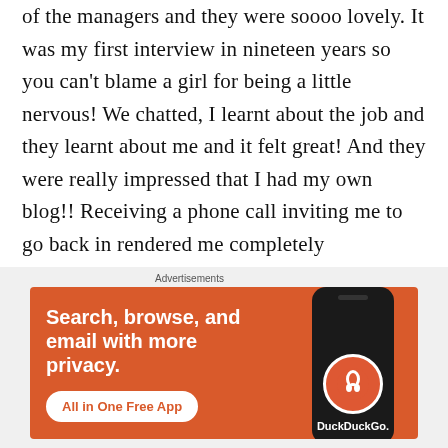of the managers and they were soooo lovely. It was my first interview in nineteen years so you can't blame a girl for being a little nervous! We chatted, I learnt about the job and they learnt about me and it felt great! And they were really impressed that I had my own blog!! Receiving a phone call inviting me to go back in rendered me completely speechless. That is absolutely no exaggeration, I literally couldn't
[Figure (infographic): DuckDuckGo advertisement banner with orange background. Text reads: 'Search, browse, and email with more privacy. All in One Free App' with a DuckDuckGo logo on a phone mockup.]